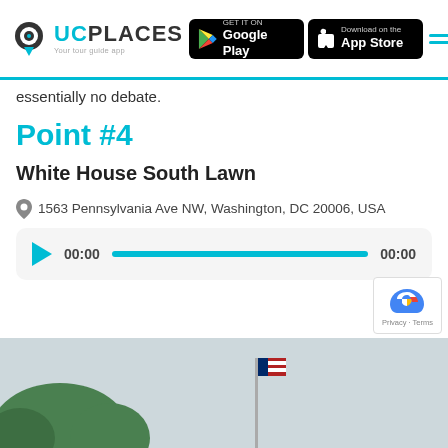UCPlaces — Your tour guide app
essentially no debate.
Point #4
White House South Lawn
1563 Pennsylvania Ave NW, Washington, DC 20006, USA
[Figure (other): Audio player showing 00:00 timestamp with cyan play button and full cyan progress bar]
[Figure (photo): Outdoor photo showing trees and a flag pole against a pale sky, partial view of White House South Lawn]